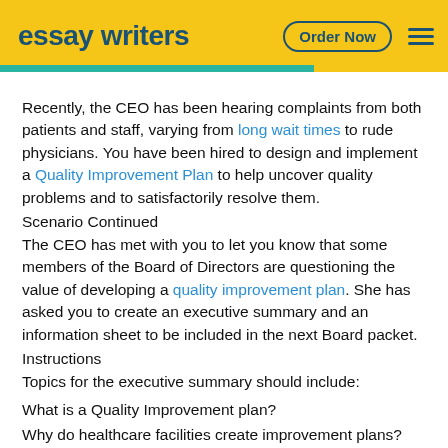essay writers | Order Now
Recently, the CEO has been hearing complaints from both patients and staff, varying from long wait times to rude physicians. You have been hired to design and implement a Quality Improvement Plan to help uncover quality problems and to satisfactorily resolve them.
Scenario Continued
The CEO has met with you to let you know that some members of the Board of Directors are questioning the value of developing a quality improvement plan. She has asked you to create an executive summary and an information sheet to be included in the next Board packet.
Instructions
Topics for the executive summary should include:
What is a Quality Improvement plan?
Why do healthcare facilities create improvement plans?
Why would you recommend the facility create and implement a